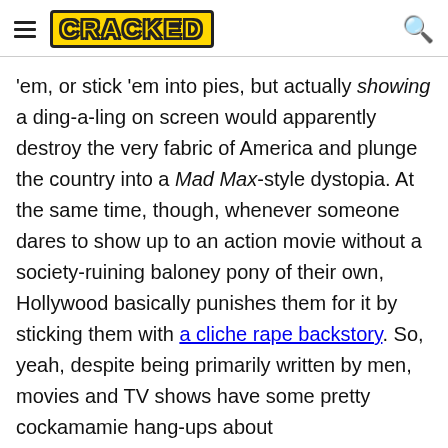CRACKED
'em, or stick 'em into pies, but actually showing a ding-a-ling on screen would apparently destroy the very fabric of America and plunge the country into a Mad Max-style dystopia. At the same time, though, whenever someone dares to show up to an action movie without a society-ruining baloney pony of their own, Hollywood basically punishes them for it by sticking them with a cliche rape backstory. So, yeah, despite being primarily written by men, movies and TV shows have some pretty cockamamie hang-ups about